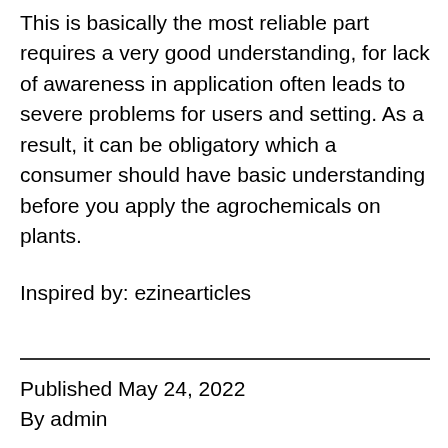This is basically the most reliable part requires a very good understanding, for lack of awareness in application often leads to severe problems for users and setting. As a result, it can be obligatory which a consumer should have basic understanding before you apply the agrochemicals on plants.
Inspired by: ezinearticles
Published May 24, 2022
By admin